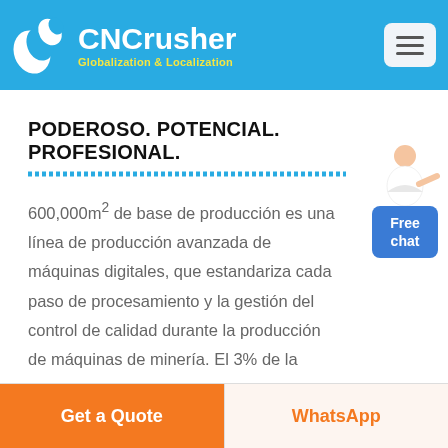CNCrusher — Globalization & Localization
PODEROSO. POTENCIAL. PROFESIONAL.
600,000m² de base de producción es una línea de producción avanzada de máquinas digitales, que estandariza cada paso de procesamiento y la gestión del control de calidad durante la producción de máquinas de minería. El 3% de la facturación anual se incluye en la investigación y actualización de productos. Con espíritu de artesano,
[Figure (illustration): Customer service representative figure with Free chat button]
Get a Quote | WhatsApp